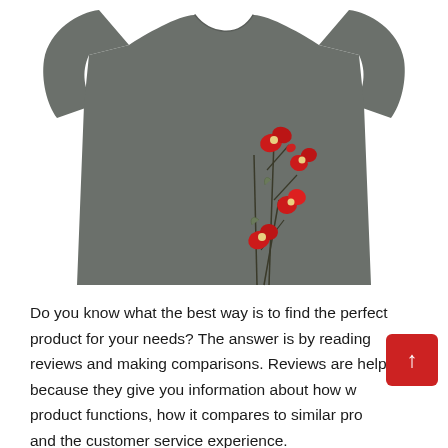[Figure (photo): A grey short-sleeve t-shirt with a floral embroidery design featuring red poppy flowers with dark stems on the front right side]
Do you know what the best way is to find the perfect product for your needs? The answer is by reading reviews and making comparisons. Reviews are helpful because they give you information about how well a product functions, how it compares to similar products, and the customer service experience.